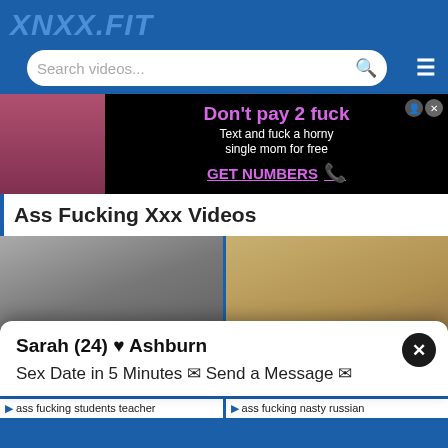XNXX.FIT
[Figure (screenshot): Search bar with placeholder 'Search videos...' and hamburger menu icon]
[Figure (infographic): Advertisement banner: 'Don't pay 2 fuck - Text and fuck a horny single mom for free - GET NUMBERS']
Ass Fucking Xxx Videos
[Figure (screenshot): Two video thumbnails side by side with popup overlay showing 'Sarah (24) ♥ Ashburn - Sex Date in 5 Minutes ✉ Send a Message ✉']
ass fucking students teacher
ass fucking nasty russian